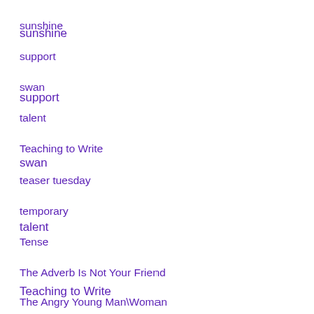sunshine
support
swan
talent
Teaching to Write
teaser tuesday
temporary
Tense
The Adverb Is Not Your Friend
The Angry Young Man\Woman